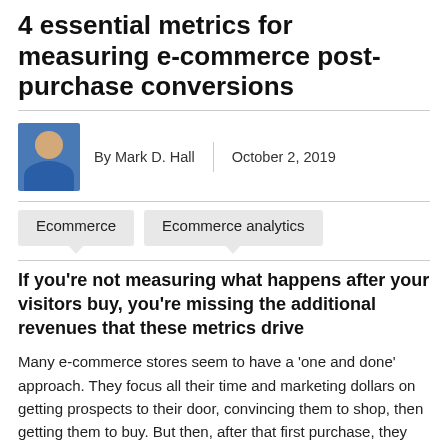4 essential metrics for measuring e-commerce post-purchase conversions
By Mark D. Hall | October 2, 2019
Ecommerce   Ecommerce analytics
If you’re not measuring what happens after your visitors buy, you’re missing the additional revenues that these metrics drive
Many e-commerce stores seem to have a ‘one and done’ approach. They focus all their time and marketing dollars on getting prospects to their door, convincing them to shop, then getting them to buy. But then, after that first purchase, they just hear the sound of their marketing engine winding down. If this is the case for you, your acquisition costs — whether SEO